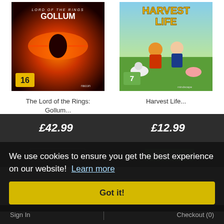[Figure (screenshot): Game cover for The Lord of the Rings: Gollum - dark fantasy with fiery eye, age rating 16, nacon publisher]
[Figure (screenshot): Game cover for Harvest Life - colourful farming game with cartoon characters, age rating 7, mindscape publisher]
The Lord of the Rings: Gollum...
Harvest Life...
£42.99
£12.99
PRE-ORDER ❯
BUY NOW ❯
We use cookies to ensure you get the best experience on our website!  Learn more
Got it!
Sign In
Checkout (0)